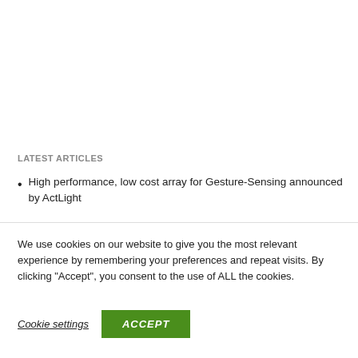LATEST ARTICLES
High performance, low cost array for Gesture-Sensing announced by ActLight
We use cookies on our website to give you the most relevant experience by remembering your preferences and repeat visits. By clicking “Accept”, you consent to the use of ALL the cookies.
Cookie settings
ACCEPT